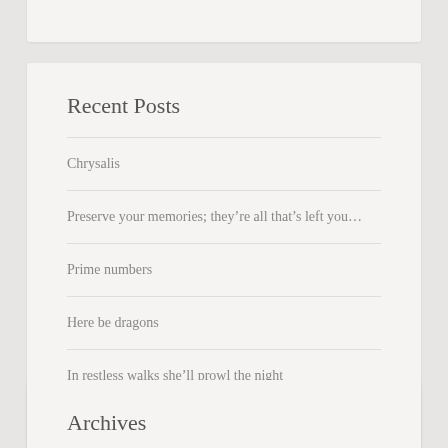Recent Posts
Chrysalis
Preserve your memories; they’re all that’s left you…
Prime numbers
Here be dragons
In restless walks she’ll prowl the night
Archives